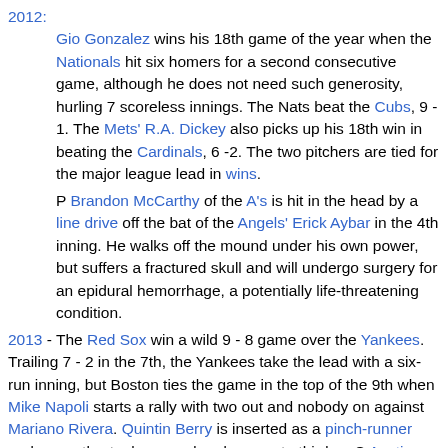2012: Gio Gonzalez wins his 18th game of the year when the Nationals hit six homers for a second consecutive game, although he does not need such generosity, hurling 7 scoreless innings. The Nats beat the Cubs, 9 - 1. The Mets' R.A. Dickey also picks up his 18th win in beating the Cardinals, 6 -2. The two pitchers are tied for the major league lead in wins.
P Brandon McCarthy of the A's is hit in the head by a line drive off the bat of the Angels' Erick Aybar in the 4th inning. He walks off the mound under his own power, but suffers a fractured skull and will undergo surgery for an epidural hemorrhage, a potentially life-threatening condition.
2013 - The Red Sox win a wild 9 - 8 game over the Yankees. Trailing 7 - 2 in the 7th, the Yankees take the lead with a six-run inning, but Boston ties the game in the top of the 9th when Mike Napoli starts a rally with two out and nobody on against Mariano Rivera. Quintin Berry is inserted as a pinch-runner and promptly steals second and moves to third on C Austin Romine's wild throw, before Stephen Drew's single drives him in to tie the game. In the bottom of the 9th, Alfonso Soriano is thrown out in an ill-fated steal